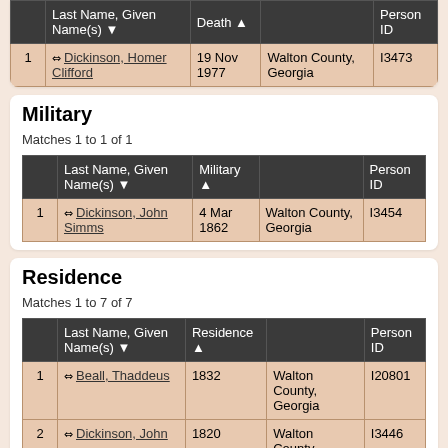|  | Last Name, Given Name(s) | Death |  | Person ID |
| --- | --- | --- | --- | --- |
| 1 | Dickinson, Homer Clifford | 19 Nov 1977 | Walton County, Georgia | I3473 |
Military
Matches 1 to 1 of 1
|  | Last Name, Given Name(s) | Military |  | Person ID |
| --- | --- | --- | --- | --- |
| 1 | Dickinson, John Simms | 4 Mar 1862 | Walton County, Georgia | I3454 |
Residence
Matches 1 to 7 of 7
|  | Last Name, Given Name(s) | Residence |  | Person ID |
| --- | --- | --- | --- | --- |
| 1 | Beall, Thaddeus | 1832 | Walton County, Georgia | I20801 |
| 2 | Dickinson, John | 1820 | Walton County, ... | I3446 |